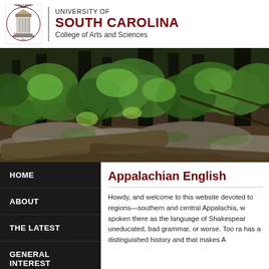[Figure (logo): University of South Carolina seal/logo]
UNIVERSITY OF SOUTH CAROLINA
College of Arts and Sciences
[Figure (photo): Appalachian forest landscape with green foliage and rocks]
HOME
ABOUT
THE LATEST
GENERAL INTEREST
Appalachian English
Howdy, and welcome to this website devoted to regions—southern and central Appalachia, w spoken there as the language of Shakespeare uneducated, bad grammar, or worse.  Too ra has a distinguished history and that makes A